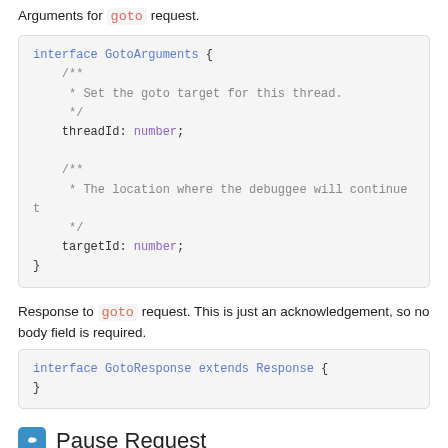Arguments for goto request.
interface GotoArguments {
    /**
     * Set the goto target for this thread.
     */
    threadId: number;

    /**
     * The location where the debuggee will continue t
     */
    targetId: number;
}
Response to goto request. This is just an acknowledgement, so no body field is required.
interface GotoResponse extends Response {
}
Pause Request